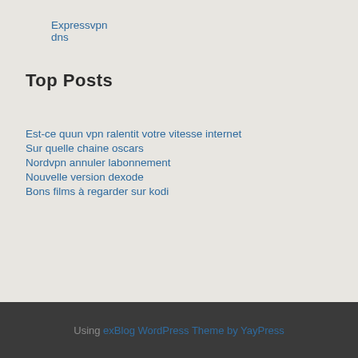Expressvpn dns
Top Posts
Est-ce quun vpn ralentit votre vitesse internet
Sur quelle chaine oscars
Nordvpn annuler labonnement
Nouvelle version dexode
Bons films à regarder sur kodi
Using exBlog WordPress Theme by YayPress